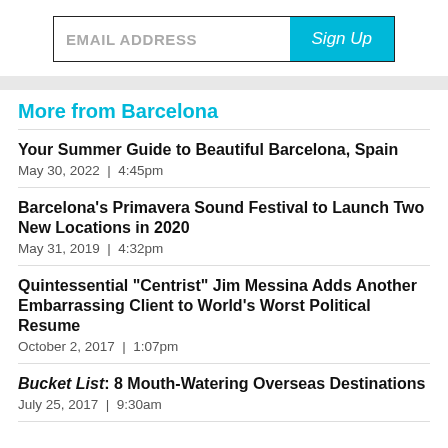[Figure (other): Email signup form with an input field labeled EMAIL ADDRESS and a cyan Sign Up button]
More from Barcelona
Your Summer Guide to Beautiful Barcelona, Spain
May 30, 2022  |  4:45pm
Barcelona's Primavera Sound Festival to Launch Two New Locations in 2020
May 31, 2019  |  4:32pm
Quintessential "Centrist" Jim Messina Adds Another Embarrassing Client to World's Worst Political Resume
October 2, 2017  |  1:07pm
Bucket List: 8 Mouth-Watering Overseas Destinations
July 25, 2017  |  9:30am